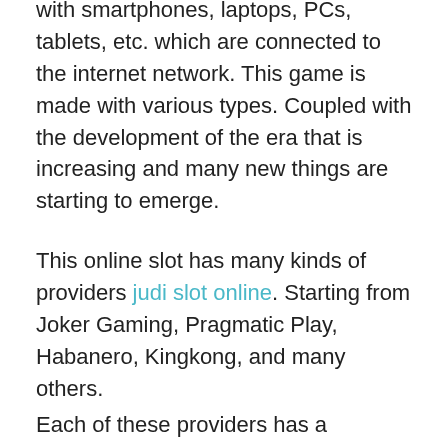Online slots are online games that are played with smartphones, laptops, PCs, tablets, etc. which are connected to the internet network. This game is made with various types. Coupled with the development of the era that is increasing and many new things are starting to emerge.
This online slot has many kinds of providers judi slot online. Starting from Joker Gaming, Pragmatic Play, Habanero, Kingkong, and many others.
Each of these providers has a different game, display, and background. The payouts we receive when we are lucky to hit the jackpot are different in value. Okay, let's go straight to the discussion in this article, namely the List of Online Slots at